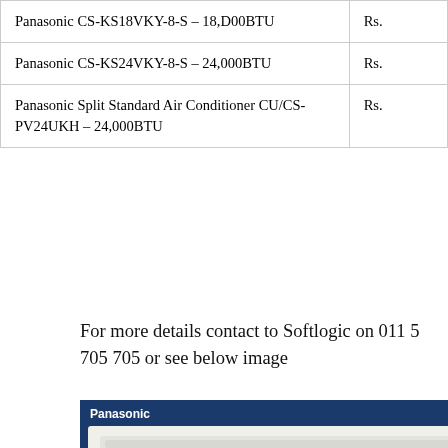| Product | Price |
| --- | --- |
| Panasonic CS-KS18VKY-8-S – 18,D00BTU | Rs. |
| Panasonic CS-KS24VKY-8-S – 24,000BTU | Rs. |
| Panasonic Split Standard Air Conditioner CU/CS-PV24UKH – 24,000BTU | Rs. |
For more details contact to Softlogic on 011 5 705 705 or see below image
[Figure (photo): Panasonic Twin Cool Inverter air conditioner advertisement showing AC unit, features badges, and tagline 'Beat the Heat with World's Best Air Conditioners!' with social media icons (RSS, Follow, Facebook, Twitter)]